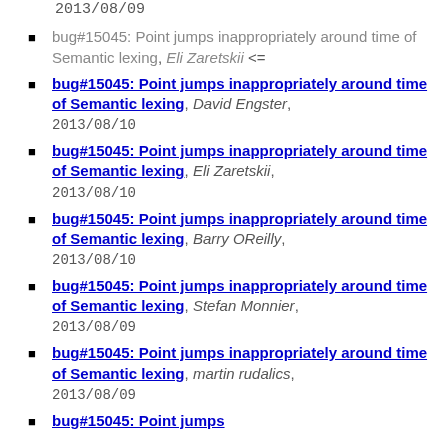2013/08/09
bug#15045: Point jumps inappropriately around time of Semantic lexing, Eli Zaretskii <=
bug#15045: Point jumps inappropriately around time of Semantic lexing, David Engster, 2013/08/10
bug#15045: Point jumps inappropriately around time of Semantic lexing, Eli Zaretskii, 2013/08/10
bug#15045: Point jumps inappropriately around time of Semantic lexing, Barry OReilly, 2013/08/10
bug#15045: Point jumps inappropriately around time of Semantic lexing, Stefan Monnier, 2013/08/09
bug#15045: Point jumps inappropriately around time of Semantic lexing, martin rudalics, 2013/08/09
bug#15045: Point jumps